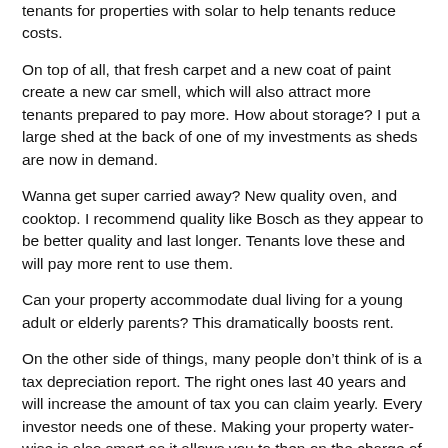tenants for properties with solar to help tenants reduce costs.
On top of all, that fresh carpet and a new coat of paint create a new car smell, which will also attract more tenants prepared to pay more. How about storage? I put a large shed at the back of one of my investments as sheds are now in demand.
Wanna get super carried away? New quality oven, and cooktop. I recommend quality like Bosch as they appear to be better quality and last longer. Tenants love these and will pay more rent to use them.
Can your property accommodate dual living for a young adult or elderly parents? This dramatically boosts rent.
On the other side of things, many people don’t think of is a tax depreciation report. The right ones last 40 years and will increase the amount of tax you can claim yearly. Every investor needs one of these. Making your property water-wise is also smart as it allows you to then on the charge of excess water.
To wrap things up, the property investor will look at how much...